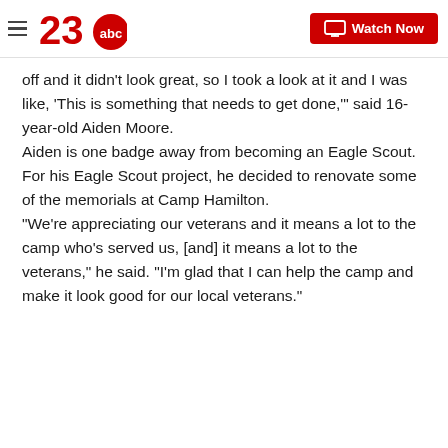23abc | Watch Now
off and it didn't look great, so I took a look at it and I was like, 'This is something that needs to get done,'" said 16-year-old Aiden Moore.
Aiden is one badge away from becoming an Eagle Scout.
For his Eagle Scout project, he decided to renovate some of the memorials at Camp Hamilton.
“We’re appreciating our veterans and it means a lot to the camp who’s served us, [and] it means a lot to the veterans," he said. "I'm glad that I can help the camp and make it look good for our local veterans."